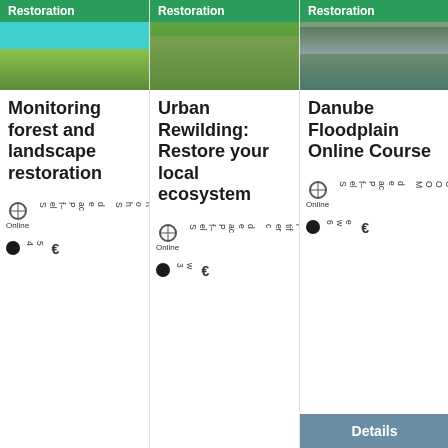[Figure (photo): Card 1: Restoration tag with wetland/lake photo, title Monitoring forest and landscape restoration, meta: Online, Self-Paced, Shortcourse, clock icon, 45 weeks, euro price]
[Figure (photo): Card 2: Restoration tag with green wetland photo, title Urban Rewilding: Restore your local ecosystem, meta: Online, Self-Paced, Certificate, clock icon, 3 weeks, euro price]
[Figure (photo): Card 3: Restoration tag with river/logs photo, title Danube Floodplain Online Course, meta: Online, Self-Paced, MOOC, clock 6 weeks, euro price, Details button]